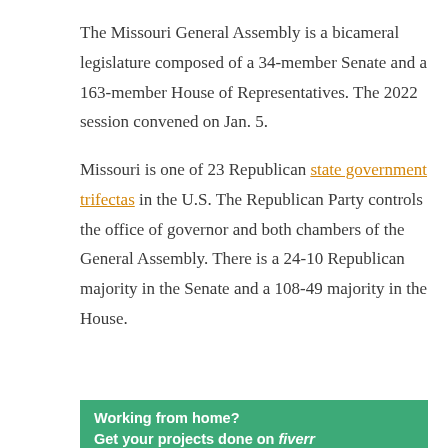The Missouri General Assembly is a bicameral legislature composed of a 34-member Senate and a 163-member House of Representatives. The 2022 session convened on Jan. 5.
Missouri is one of 23 Republican state government trifectas in the U.S. The Republican Party controls the office of governor and both chambers of the General Assembly. There is a 24-10 Republican majority in the Senate and a 108-49 majority in the House.
[Figure (other): Orange 'LEARN MORE' button with a dark green 'P' logo box and an 'x' close icon to the right]
[Figure (other): Green Fiverr advertisement banner reading 'Working from home? Get your projects done on fiverr']